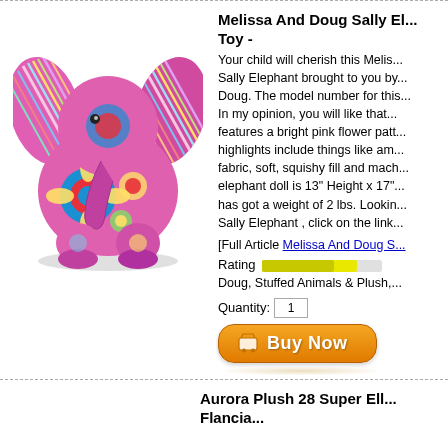[Figure (photo): Colorful stuffed elephant toy with bright pink flower pattern and rainbow striped ears, sitting upright]
Melissa And Doug Sally El... Toy -
Your child will cherish this Melissa... Sally Elephant brought to you by... Doug. The model number for this... In my opinion, you will like that... features a bright pink flower patt... highlights include things like am... fabric, soft, squishy fill and mach... elephant doll is 13" Height x 17"... has got a weight of 2 lbs. Lookin... Sally Elephant , click on the link...
[Full Article Melissa And Doug S...
Rating
Doug, Stuffed Animals & Plush,...
Quantity: 1
[Figure (screenshot): Buy Now button with shopping cart icon, orange rounded rectangle button]
Aurora Plush 28 Super Ell... Flancia...